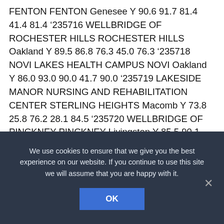FENTON FENTON Genesee Y 90.6 91.7 81.4 41.4 81.4 '235716 WELLBRIDGE OF ROCHESTER HILLS ROCHESTER HILLS Oakland Y 89.5 86.8 76.3 45.0 76.3 '235718 NOVI LAKES HEALTH CAMPUS NOVI Oakland Y 86.0 93.0 90.0 41.7 90.0 '235719 LAKESIDE MANOR NURSING AND REHABILITATION CENTER STERLING HEIGHTS Macomb Y 73.8 25.8 76.2 28.1 84.5 '235720 WELLBRIDGE OF PINCKNEY PINCKNEY Livingston Y 85.5 90.1 83.6 65.2 83.6 '235721 ORCHARD GROVE HEALTH CAMPUS ROMEO Macomb Y 75.5 86.5 81.3 41.8 81.3 '235722 MISSION POINT NURSING AND REHAB CENTER OF HOLLY HOLLY Oakland Y 91.1 80.4
We use cookies to ensure that we give you the best experience on our website. If you continue to use this site we will assume that you are happy with it.